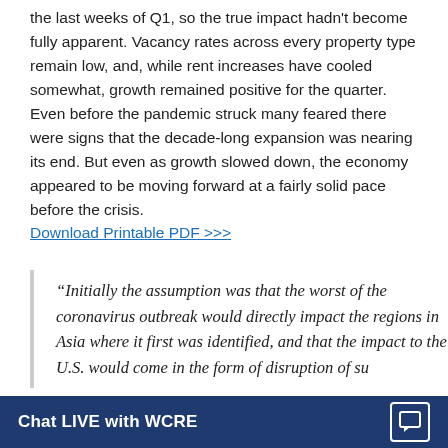the last weeks of Q1, so the true impact hadn't become fully apparent. Vacancy rates across every property type remain low, and, while rent increases have cooled somewhat, growth remained positive for the quarter. Even before the pandemic struck many feared there were signs that the decade-long expansion was nearing its end. But even as growth slowed down, the economy appeared to be moving forward at a fairly solid pace before the crisis.
Download Printable PDF >>>
“Initially the assumption was that the worst of the coronavirus outbreak would directly impact the regions in Asia where it first was identified, and that the impact to the U.S. would come in the form of disruption of su
Chat LIVE with WCRE